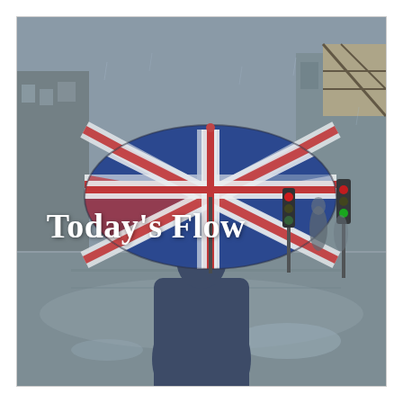[Figure (photo): A person seen from behind holding a Union Jack (UK flag) umbrella in the rain on a wet city street. Buildings and traffic lights visible in background. The person is wearing a dark navy top. The wet pavement reflects the surroundings.]
Today's Flow